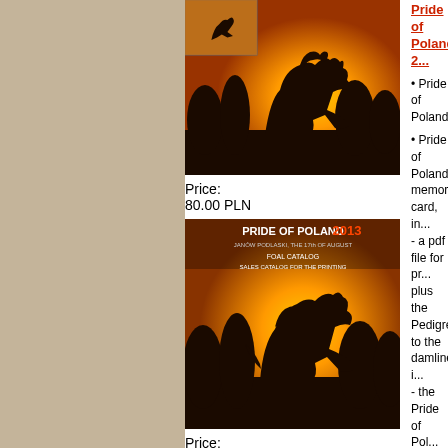[Figure (photo): Horse silhouette against orange sunset sky with small thumbnail overlay in top-left]
Price:
80.00 PLN
[Figure (photo): Pride of Poland 2013 catalog cover with horse silhouette against orange sunset and catalog title text]
Price:
40.00 PLN
[Figure (photo): Pride of Poland product showing book and disc images]
Pride of Poland 2...
• Pride of Poland...
• Pride of Poland... memory card, in... - a pdf file for pr... plus the Pedigree... to the damlines i... - the Pride of Pol...
Pride of Poland 2... files) on a usb m...
- Pride of Poland... memory card, in...
- a pdf file for pr... plus the Pedigree... to the damlines i...
- the Pride of Pol...
Pride of Poland 2...